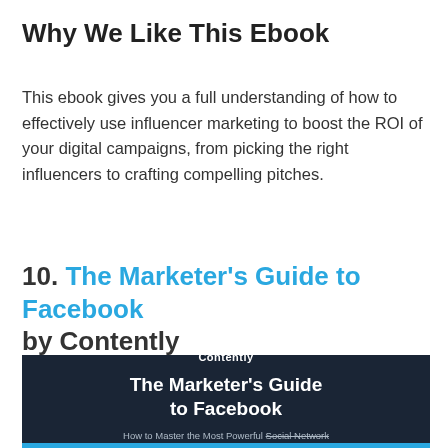Why We Like This Ebook
This ebook gives you a full understanding of how to effectively use influencer marketing to boost the ROI of your digital campaigns, from picking the right influencers to crafting compelling pitches.
10. The Marketer's Guide to Facebook by Contently
[Figure (illustration): Dark navy book cover for 'The Marketer's Guide to Facebook' by Contently. Shows the Contently brand name at top, bold white title text, and subtitle 'How to Master the Most Powerful Social Network Advertising Platform the World Has Ever Seen' with 'Social Network' struck through. Blue bar at the bottom.]